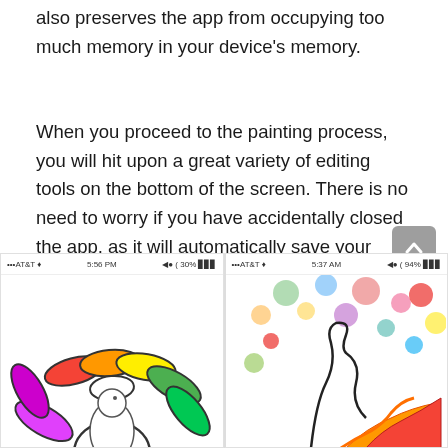also preserves the app from occupying too much memory in your device's memory.
When you proceed to the painting process, you will hit upon a great variety of editing tools on the bottom of the screen. There is no need to worry if you have accidentally closed the app, as it will automatically save your paintings and later you can continue from the place you left off. However many users complain that this app has lots of ads and a little bit of old-fashioned design.
[Figure (screenshot): Two mobile app screenshots showing colorful drawing/painting app interfaces. Left shows a colorful sunflower-like design with petals in rainbow colors (magenta, red, orange, yellow, green). Right shows a colorful festive design with polka dots and a decorative bird/phoenix with red and orange flames.]